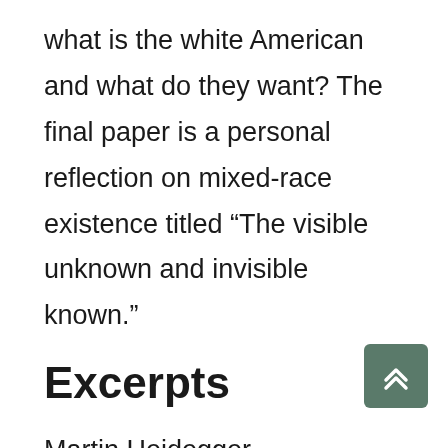what is the white American and what do they want? The final paper is a personal reflection on mixed-race existence titled “The visible unknown and invisible known.”
Excerpts
Martin Heidegger distinguishes human beings from objects precisely because human beings do not have an essence. To think of oneself as an object with an essence is to deny